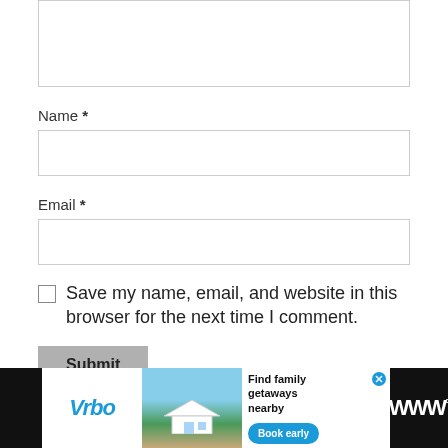[Figure (screenshot): Textarea input box (empty comment field) with border]
Name *
[Figure (screenshot): Name text input field (empty) with border]
Email *
[Figure (screenshot): Email text input field (empty) with border]
Save my name, email, and website in this browser for the next time I comment.
Submit
[Figure (screenshot): Vrbo advertisement banner: Find family getaways nearby. Book early button.]